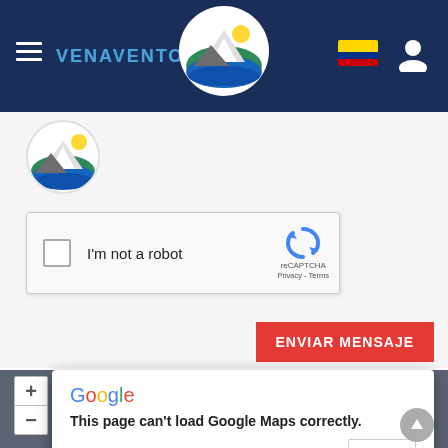[Figure (screenshot): Venaventours website navigation bar with hamburger menu, logo circle, brand name VENAVENTOURS in blue, Ecuador flag icon, and user icon on dark navy background]
[Figure (logo): Small circular Venaventours logo with mountains, sun and water below the navigation bar]
[Figure (screenshot): Google reCAPTCHA widget with checkbox and 'I'm not a robot' text, reCAPTCHA logo, Privacy and Terms links]
ENVIAR MENSAJE
[Figure (screenshot): Google Maps area with +/- zoom controls and error dialog: 'This page can't load Google Maps correctly. Do you own this website? OK']
Google
This page can't load Google Maps correctly.
Do you own this website?
OK